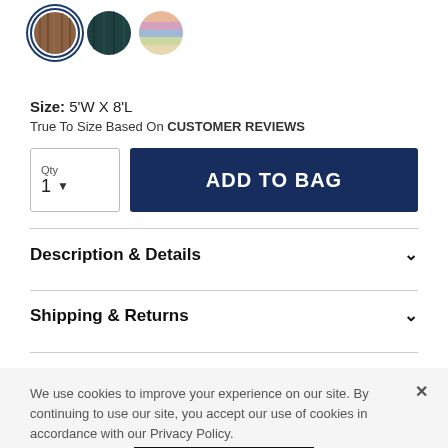[Figure (illustration): Three circular color swatch options for a rug: first swatch (brown wood texture) is selected with a dark blue border, second swatch (dark teal/blue texture), third swatch (multicolor pastel texture).]
Size: 5'W X 8'L
True To Size Based On CUSTOMER REVIEWS
Qty 1 ▾   ADD TO BAG
Description & Details
Shipping & Returns
We use cookies to improve your experience on our site. By continuing to use our site, you accept our use of cookies in accordance with our Privacy Policy.
Privacy Policy
Accept Cookies